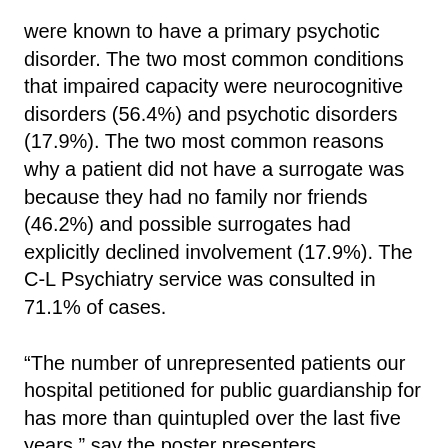were known to have a primary psychotic disorder. The two most common conditions that impaired capacity were neurocognitive disorders (56.4%) and psychotic disorders (17.9%). The two most common reasons why a patient did not have a surrogate was because they had no family nor friends (46.2%) and possible surrogates had explicitly declined involvement (17.9%). The C-L Psychiatry service was consulted in 71.1% of cases.
“The number of unrepresented patients our hospital petitioned for public guardianship for has more than quintupled over the last five years,” say the poster presenters. “Involvement of C-L Psychiatry was common for capacity evaluations and management of psychosis. While this data is from one academic medical center, it may be representative of a national trend.”